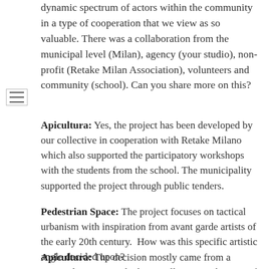dynamic spectrum of actors within the community in a type of cooperation that we view as so valuable. There was a collaboration from the municipal level (Milan), agency (your studio), non-profit (Retake Milan Association), volunteers and community (school). Can you share more on this?
Apicultura: Yes, the project has been developed by our collective in cooperation with Retake Milano which also supported the participatory workshops with the students from the school. The municipality supported the project through public tenders.
Pedestrian Space: The project focuses on tactical urbanism with inspiration from avant garde artists of the early 20th century.  How was this specific artistic angle decided upon?
Apicultura: The decision mostly came from a personal interest we had as a collective at the time of the proposal.